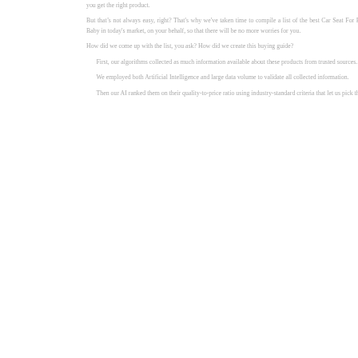you get the right product.
But that’s not always easy, right? That's why we've taken time to compile a list of the best Car Seat For Reflux Baby in today's market, on your behalf, so that there will be no more worries for you.
How did we come up with the list, you ask? How did we create this buying guide?
First, our algorithms collected as much information available about these products from trusted sources.
We employed both Artificial Intelligence and large data volume to validate all collected information.
Then our AI ranked them on their quality-to-price ratio using industry-standard criteria that let us pick the